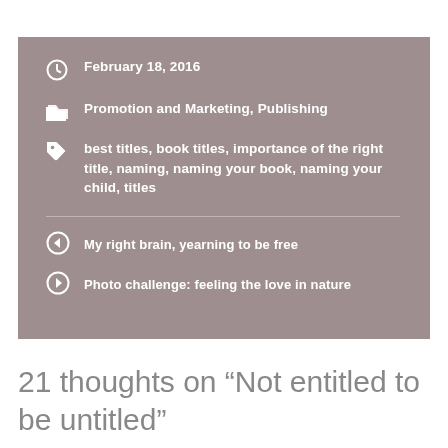February 18, 2016
Promotion and Marketing, Publishing
best titles, book titles, importance of the right title, naming, naming your book, naming your child, titles
My right brain, yearning to be free
Photo challenge: feeling the love in nature
21 thoughts on “Not entitled to be untitled”